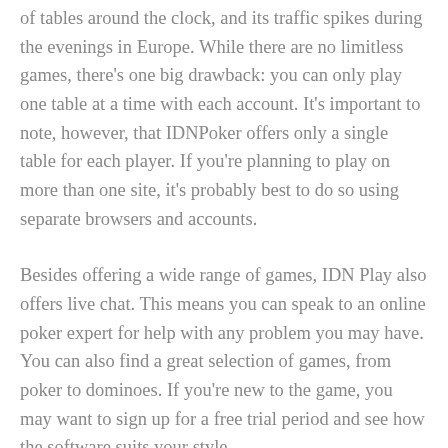of tables around the clock, and its traffic spikes during the evenings in Europe. While there are no limitless games, there's one big drawback: you can only play one table at a time with each account. It's important to note, however, that IDNPoker offers only a single table for each player. If you're planning to play on more than one site, it's probably best to do so using separate browsers and accounts.
Besides offering a wide range of games, IDN Play also offers live chat. This means you can speak to an online poker expert for help with any problem you may have. You can also find a great selection of games, from poker to dominoes. If you're new to the game, you may want to sign up for a free trial period and see how the software suits your style